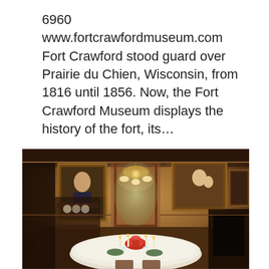6960 www.fortcrawfordmuseum.com Fort Crawford stood guard over Prairie du Chien, Wisconsin, from 1816 until 1856. Now, the Fort Crawford Museum displays the history of the fort, its...
[Figure (photo): Interior photo of a Victorian-era dining room with a set table, chandelier, portrait paintings on walls, arched doorway, and fireplace mantle.]